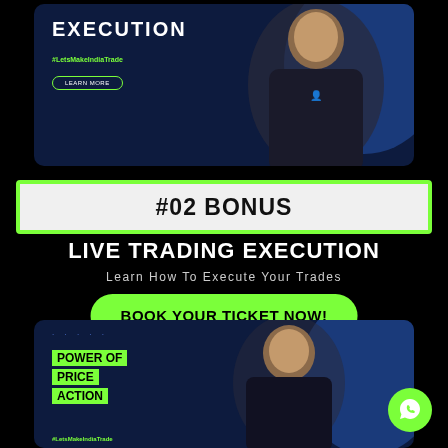[Figure (photo): Top promotional card with dark blue background, woman with crossed arms, EXECUTION text, #LetsMakeIndiaTrade hashtag, and LEARN MORE button]
#02 BONUS
LIVE TRADING EXECUTION
Learn How To Execute Your Trades
BOOK YOUR TICKET NOW!
[Figure (photo): Bottom promotional card with dark blue background, woman smiling, POWER OF PRICE ACTION text in green highlight boxes, #LetsMakeIndiaTrade hashtag]